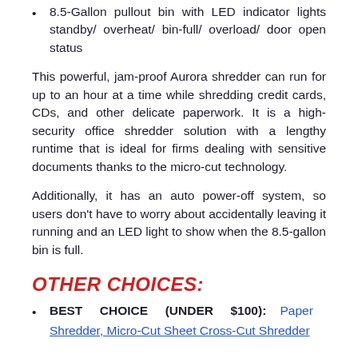8.5-Gallon pullout bin with LED indicator lights standby/ overheat/ bin-full/ overload/ door open status
This powerful, jam-proof Aurora shredder can run for up to an hour at a time while shredding credit cards, CDs, and other delicate paperwork. It is a high-security office shredder solution with a lengthy runtime that is ideal for firms dealing with sensitive documents thanks to the micro-cut technology.
Additionally, it has an auto power-off system, so users don't have to worry about accidentally leaving it running and an LED light to show when the 8.5-gallon bin is full.
OTHER CHOICES:
BEST CHOICE (UNDER $100): Paper Shredder, Micro-Cut Sheet Cross-Cut Shredder